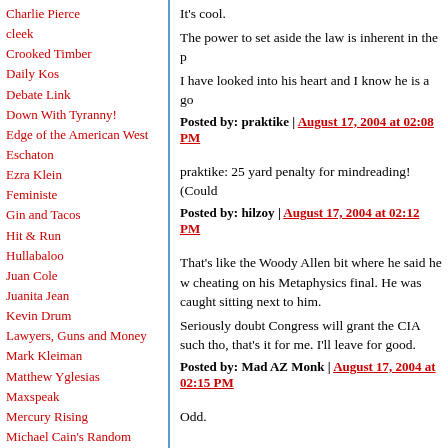Charlie Pierce
cleek
Crooked Timber
Daily Kos
Debate Link
Down With Tyranny!
Edge of the American West
Eschaton
Ezra Klein
Feministe
Gin and Tacos
Hit & Run
Hullabaloo
Juan Cole
Juanita Jean
Kevin Drum
Lawyers, Guns and Money
Mark Kleiman
Matthew Yglesias
Maxspeak
Mercury Rising
Michael Cain's Random
It's cool.
The power to set aside the law is inherent in the p
I have looked into his heart and I know he is a go
Posted by: praktike | August 17, 2004 at 02:08 PM
praktike: 25 yard penalty for mindreading! (Could
Posted by: hilzoy | August 17, 2004 at 02:12 PM
That's like the Woody Allen bit where he said he w cheating on his Metaphysics final. He was caught sitting next to him.
Seriously doubt Congress will grant the CIA such tho, that's it for me. I'll leave for good.
Posted by: Mad AZ Monk | August 17, 2004 at 02:15 PM
Odd.